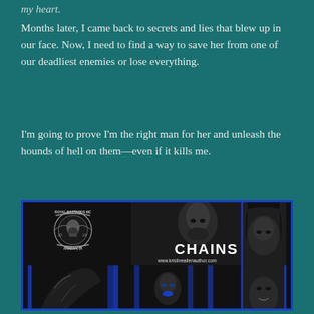my heart.
Months later, I came back to secrets and lies that blew up in our face. Now, I need to find a way to save her from one of our deadliest enemies or lose everything.
I'm going to prove I'm the right man for her and unleash the hounds of hell on them—even if it kills me.
[Figure (photo): Book cover collage for 'Chains' by Kristine Allen. Features a bearded tattooed man, a woman, motorcycle club logo for Royal Bastards MC, Ankeny IA, and website www.kristineallenauthor.com. Multiple monochrome photos with blue accents arranged in a grid layout.]